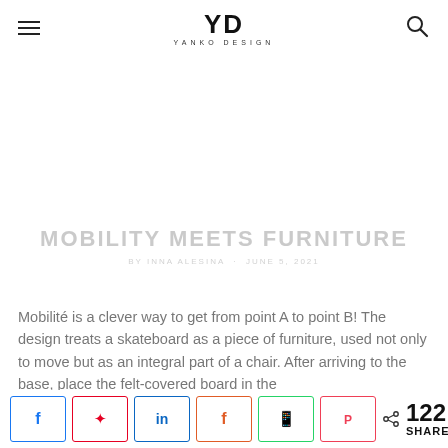YD YANKO DESIGN
[Figure (photo): White/blank hero image area above article title]
MOBILITY MEETS FURNITURE
BY INNA ALESINA · JUNE 5, 2021
Mobilité is a clever way to get from point A to point B! The design treats a skateboard as a piece of furniture, used not only to move but as an integral part of a chair. After arriving to the base, place the felt-covered board in the